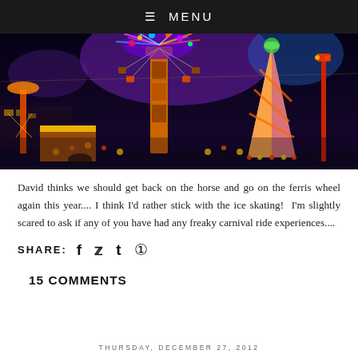≡ MENU
[Figure (photo): Night-time carnival/fairground scene with brightly lit rides including a spinning swing ride and a helter-skelter tower, colorful lights against a dark blue sky]
David thinks we should get back on the horse and go on the ferris wheel again this year.... I think I'd rather stick with the ice skating!  I'm slightly scared to ask if any of you have had any freaky carnival ride experiences....
SHARE: f ψ t ⊕
15 COMMENTS
THURSDAY, DECEMBER 27, 2012